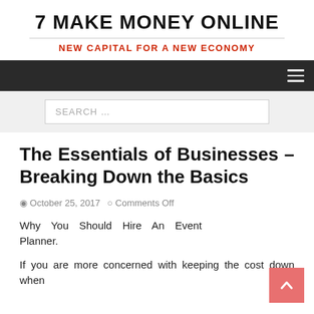7 MAKE MONEY ONLINE
NEW CAPITAL FOR A NEW ECONOMY
SEARCH ...
The Essentials of Businesses – Breaking Down the Basics
October 25, 2017   Comments Off
Why You Should Hire An Event Planner.
If you are more concerned with keeping the cost down when